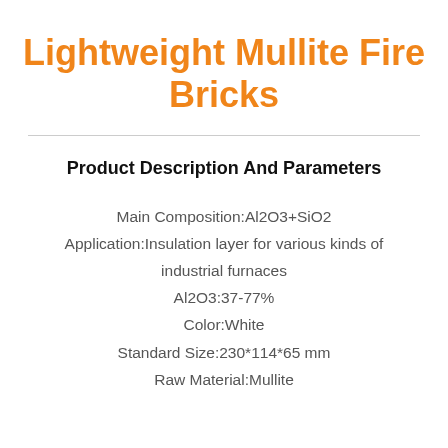Lightweight Mullite Fire Bricks
Product Description And Parameters
Main Composition:Al2O3+SiO2
Application:Insulation layer for various kinds of industrial furnaces
Al2O3:37-77%
Color:White
Standard Size:230*114*65 mm
Raw Material:Mullite